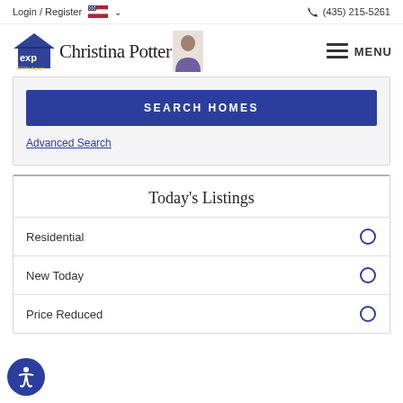Login / Register   (435) 215-5261
[Figure (logo): eXp Realty ICON Agent logo with Christina Potter agent name and photo, plus MENU icon]
SEARCH HOMES
Advanced Search
Today's Listings
Residential
New Today
Price Reduced